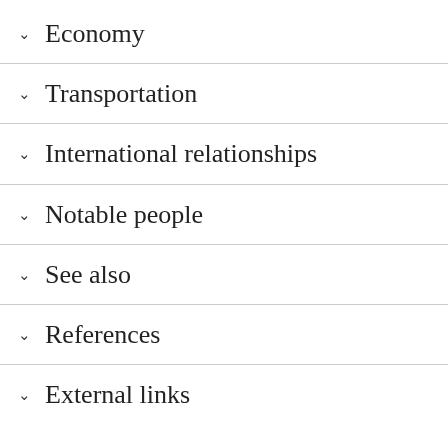Economy
Transportation
International relationships
Notable people
See also
References
External links